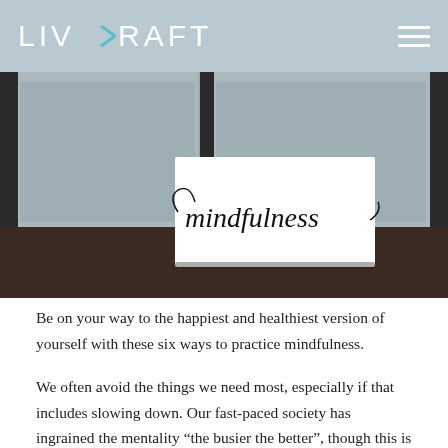LIV RAFT
[Figure (photo): Photo of a white card with 'mindfulness' written in cursive script, placed on a windowsill with a blurred outdoor background]
Be on your way to the happiest and healthiest version of yourself with these six ways to practice mindfulness.
We often avoid the things we need most, especially if that includes slowing down. Our fast-paced society has ingrained the mentality “the busier the better”, though this is not the case. Are you guilty of constantly refreshing your email inbox?